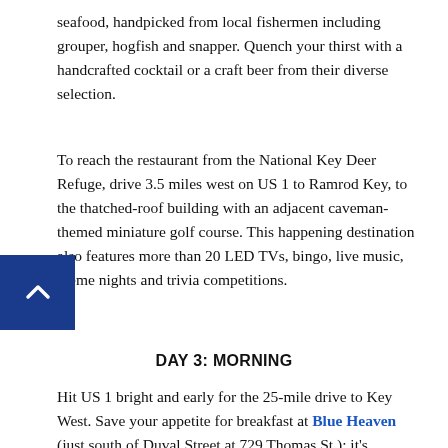seafood, handpicked from local fishermen including grouper, hogfish and snapper. Quench your thirst with a handcrafted cocktail or a craft beer from their diverse selection.
To reach the restaurant from the National Key Deer Refuge, drive 3.5 miles west on US 1 to Ramrod Key, to the thatched-roof building with an adjacent caveman-themed miniature golf course. This happening destination also features more than 20 LED TVs, bingo, live music, theme nights and trivia competitions.
DAY 3: MORNING
Hit US 1 bright and early for the 25-mile drive to Key West. Save your appetite for breakfast at Blue Heaven (just south of Duval Street at 729 Thomas St.); it's practically a requirement for visitors. Roosters and their